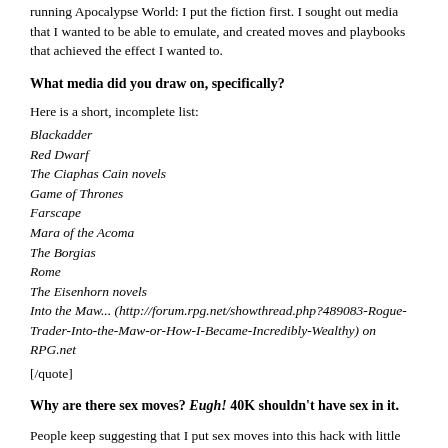running Apocalypse World: I put the fiction first. I sought out media that I wanted to be able to emulate, and created moves and playbooks that achieved the effect I wanted to.
What media did you draw on, specifically?
Here is a short, incomplete list:
Blackadder
Red Dwarf
The Ciaphas Cain novels
Game of Thrones
Farscape
Mara of the Acoma
The Borgias
Rome
The Eisenhorn novels
Into the Maw... (http://forum.rpg.net/showthread.php?489083-Rogue-Trader-Into-the-Maw-or-How-I-Became-Incredibly-Wealthy) on RPG.net
[/quote]
Why are there sex moves? Eugh! 40K shouldn't have sex in it.
People keep suggesting that I put sex moves into this hack with little thought, just following the example of Apocalypse World without putting any thought into it.
This isn't true. I've added sex moves to the game because I think sexuality is an important part of the human experience,